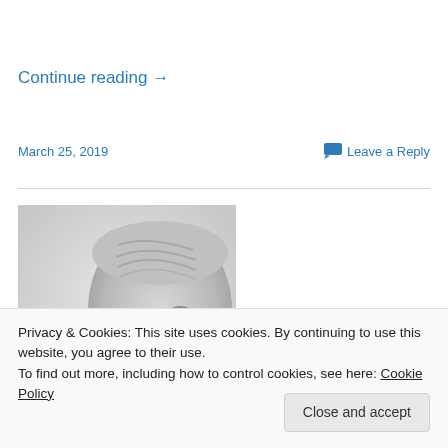Continue reading →
March 25, 2019
Leave a Reply
[Figure (photo): Black and white photograph of an older man with grey/white hair, cropped to show head and upper face, looking downward]
Privacy & Cookies: This site uses cookies. By continuing to use this website, you agree to their use.
To find out more, including how to control cookies, see here: Cookie Policy
Close and accept